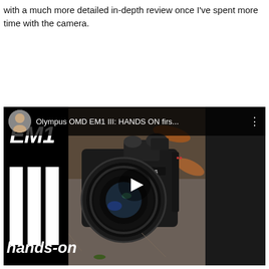with a much more detailed in-depth review once I've spent more time with the camera.
[Figure (screenshot): Embedded video thumbnail showing Olympus OMD EM1 III hands-on review. Left panel with 'EM1' text, three white vertical bars, and 'hands-on' text on black background. Right side shows Olympus camera with large lens on outdoor ground. Top bar shows avatar, title 'Olympus OMD EM1 III: HANDS ON firs...' and menu dots. Play button in center.]